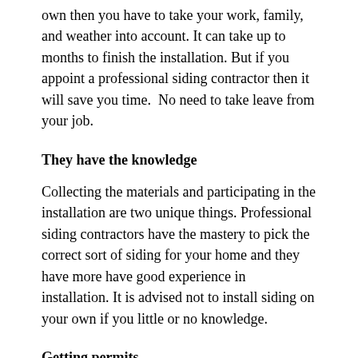own then you have to take your work, family, and weather into account. It can take up to months to finish the installation. But if you appoint a professional siding contractor then it will save you time.  No need to take leave from your job.
They have the knowledge
Collecting the materials and participating in the installation are two unique things. Professional siding contractors have the mastery to pick the correct sort of siding for your home and they have more have good experience in installation. It is advised not to install siding on your own if you little or no knowledge.
Getting permits
Depending on where you stay, you may need to get a